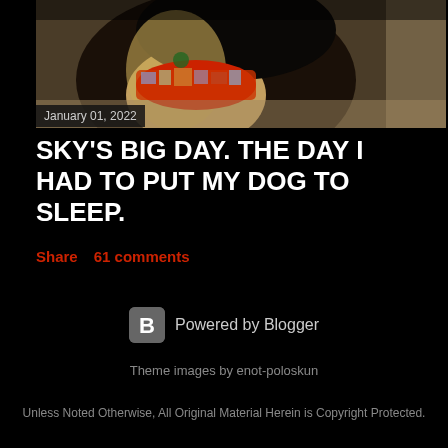[Figure (photo): Photograph of a dog (appears to be a German Shepherd) wearing a colorful fabric bandana or scarf with red and patterned colors around its neck/head area.]
January 01, 2022
SKY'S BIG DAY. THE DAY I HAD TO PUT MY DOG TO SLEEP.
Share    61 comments
[Figure (logo): Blogger logo - square icon with letter B]
Powered by Blogger
Theme images by enot-poloskun
Unless Noted Otherwise, All Original Material Herein is Copyright Protected.